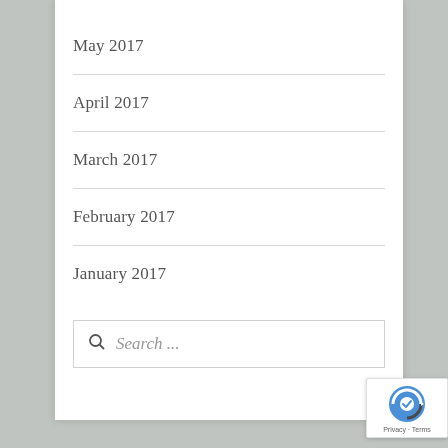May 2017
April 2017
March 2017
February 2017
January 2017
Search ...